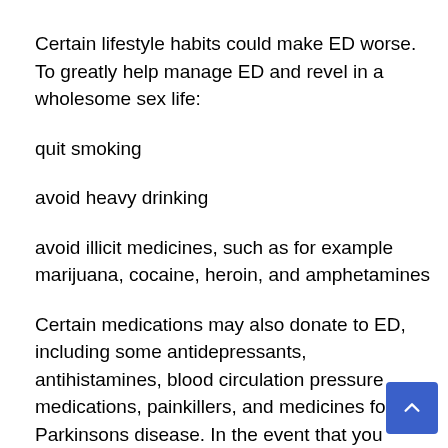Certain lifestyle habits could make ED worse. To greatly help manage ED and revel in a wholesome sex life:
quit smoking
avoid heavy drinking
avoid illicit medicines, such as for example marijuana, cocaine, heroin, and amphetamines
Certain medications may also donate to ED, including some antidepressants, antihistamines, blood circulation pressure medications, painkillers, and medicines for Parkinsons disease. In the event that you suspect that your ED is definitely associated